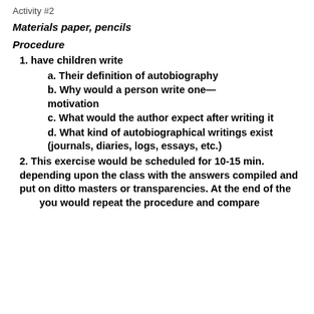Activity #2
Materials paper, pencils
Procedure
1. have children write
a. Their definition of autobiography
b. Why would a person write one—motivation
c. What would the author expect after writing it
d. What kind of autobiographical writings exist (journals, diaries, logs, essays, etc.)
2. This exercise would be scheduled for 10-15 min. depending upon the class with the answers compiled and put on ditto masters or transparencies. At the end of the [unit] you would repeat the procedure and compare